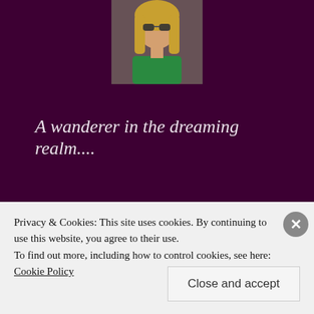[Figure (photo): Profile photo of a blonde woman wearing sunglasses and a green shirt, shown from the shoulders up.]
A wanderer in the dreaming realm....
[Figure (other): Follow Dreaming Reality button with WordPress logo and follower count of 454]
Translate
Privacy & Cookies: This site uses cookies. By continuing to use this website, you agree to their use. To find out more, including how to control cookies, see here: Cookie Policy
Close and accept